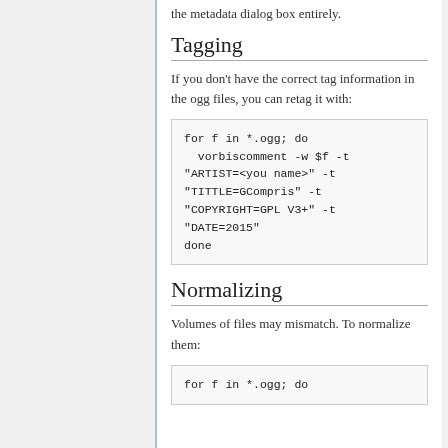the metadata dialog box entirely.
Tagging
If you don't have the correct tag information in the ogg files, you can retag it with:
for f in *.ogg; do
  vorbiscomment -w $f -t
"ARTIST=<you name>" -t
"TITTLE=GCompris" -t
"COPYRIGHT=GPL V3+" -t
"DATE=2015"
done
Normalizing
Volumes of files may mismatch. To normalize them:
for f in *.ogg; do